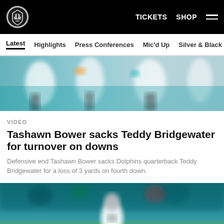Las Vegas Raiders navigation bar with logo, TICKETS, SHOP, and menu
Latest | Highlights | Press Conferences | Mic'd Up | Silver & Black Sh
[Figure (photo): Blurred action shot of NFL players on field with teal Miami Dolphins colors in background]
VIDEO
Tashawn Bower sacks Teddy Bridgewater for turnover on downs
Defensive end Tashawn Bower sacks Dolphins quarterback Teddy Bridgewater for a loss of 3 yards on fourth down.
[Figure (photo): NFL player in Raiders white uniform with helmet running on field with teal background crowd]